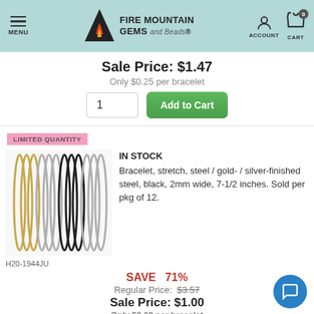Fire Mountain Gems and Beads — MENU / ACCOUNT / CART 0
Sale Price: $1.47
Only $0.25 per bracelet
LIMITED QUANTITY
IN STOCK
Bracelet, stretch, steel / gold- / silver-finished steel, black, 2mm wide, 7-1/2 inches. Sold per pkg of 12.
H20-1944JU
SAVE 71%
Regular Price: $3.57
Sale Price: $1.00
Only $0.09 per bracelet